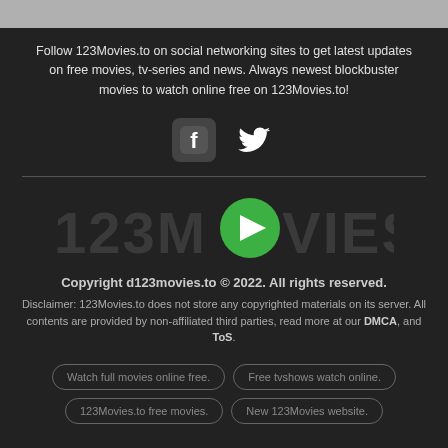Follow 123Movies.to on social networking sites to get latest updates on free movies, tv-series and news. Always newest blockbuster movies to watch online free on 123Movies.to!
[Figure (logo): Facebook and Twitter social media icons]
[Figure (logo): 123Movies logo with green play button circle replacing the letter O]
Copyright d123movies.to © 2022. All rights reserved.
Disclaimer: 123Movies.to does not store any copyrighted materials on its server. All contents are provided by non-affiliated third parties, read more at our DMCA, and ToS.
Watch full movies online free.
Free tvshows watch online.
123Movies.to free movies.
New 123Movies website.